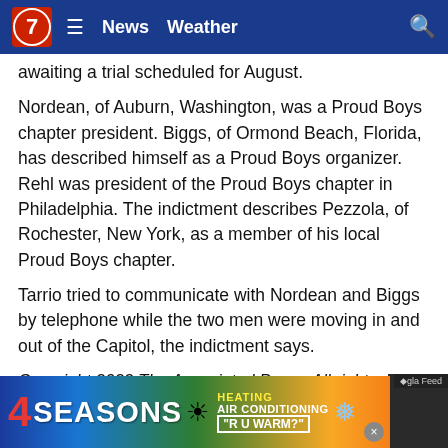7News | News  Weather
awaiting a trial scheduled for August.
Nordean, of Auburn, Washington, was a Proud Boys chapter president. Biggs, of Ormond Beach, Florida, has described himself as a Proud Boys organizer. Rehl was president of the Proud Boys chapter in Philadelphia. The indictment describes Pezzola, of Rochester, New York, as a member of his local Proud Boys chapter.
Tarrio tried to communicate with Nordean and Biggs by telephone while the two men were moving in and out of the Capitol, the indictment says.
Copyright 2022 The Associated Press. All rights reserved.
[Figure (screenshot): 4 Seasons Heating Air Conditioning advertisement banner with blue-to-green-to-yellow gradient and snowflake/sun icons, text: HEATING AIR CONDITIONING R U WARM?]